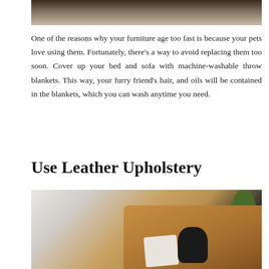[Figure (photo): Partial photo of a pet (dog or cat) on furniture, cropped at top of page, showing dark hair/fur on light background]
One of the reasons why your furniture age too fast is because your pets love using them. Fortunately, there’s a way to avoid replacing them too soon. Cover up your bed and sofa with machine-washable throw blankets. This way, your furry friend’s hair, and oils will be contained in the blankets, which you can wash anytime you need.
Use Leather Upholstery
[Figure (photo): Photo of a small black dog resting on a tan/brown leather sofa with white pillows, a plant visible in background]